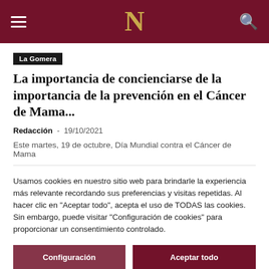N (Navarra.com logo)
La Gomera
La importancia de concienciarse de la importancia de la prevención en el Cáncer de Mama...
Redacción  -  19/10/2021
Este martes, 19 de octubre, Día Mundial contra el Cáncer de Mama
Usamos cookies en nuestro sitio web para brindarle la experiencia más relevante recordando sus preferencias y visitas repetidas. Al hacer clic en "Aceptar todo", acepta el uso de TODAS las cookies. Sin embargo, puede visitar "Configuración de cookies" para proporcionar un consentimiento controlado.
Configuración  |  Aceptar todo